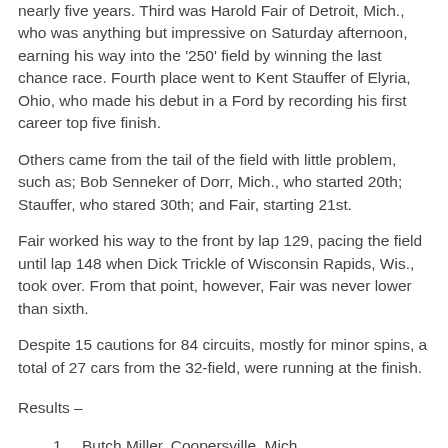nearly five years. Third was Harold Fair of Detroit, Mich., who was anything but impressive on Saturday afternoon, earning his way into the '250' field by winning the last chance race. Fourth place went to Kent Stauffer of Elyria, Ohio, who made his debut in a Ford by recording his first career top five finish.
Others came from the tail of the field with little problem, such as; Bob Senneker of Dorr, Mich., who started 20th; Stauffer, who stared 30th; and Fair, starting 21st.
Fair worked his way to the front by lap 129, pacing the field until lap 148 when Dick Trickle of Wisconsin Rapids, Wis., took over. From that point, however, Fair was never lower than sixth.
Despite 15 cautions for 84 circuits, mostly for minor spins, a total of 27 cars from the 32-field, were running at the finish.
Results –
1. Butch Miller, Coopersville, Mich.
2. Joe Shear, Beloit, Wis.